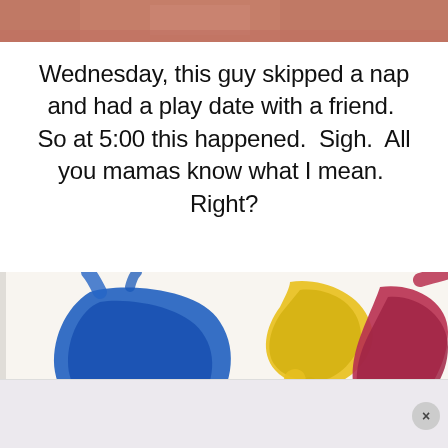[Figure (photo): Top portion of a photo showing a child, cropped to show only the top edge]
Wednesday, this guy skipped a nap and had a play date with a friend.  So at 5:00 this happened.  Sigh.  All you mamas know what I mean.  Right?
[Figure (photo): Child's finger painting on white paper with blue, yellow, and red/dark pink paint strokes]
[Figure (photo): Bottom strip of a lighter photo continuing below, with a circular X close button in the bottom right corner]